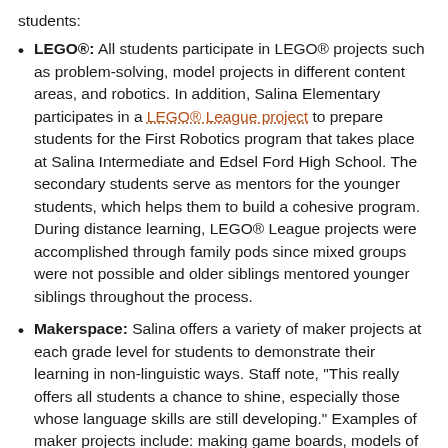students:
LEGO®: All students participate in LEGO® projects such as problem-solving, model projects in different content areas, and robotics. In addition, Salina Elementary participates in a LEGO® League project to prepare students for the First Robotics program that takes place at Salina Intermediate and Edsel Ford High School. The secondary students serve as mentors for the younger students, which helps them to build a cohesive program. During distance learning, LEGO® League projects were accomplished through family pods since mixed groups were not possible and older siblings mentored younger siblings throughout the process.
Makerspace: Salina offers a variety of maker projects at each grade level for students to demonstrate their learning in non-linguistic ways. Staff note, "This really offers all students a chance to shine, especially those whose language skills are still developing." Examples of maker projects include: making game boards, models of story elements, and the Grade 3 State of Michigan artifact project. Salina also has a Makers Club after